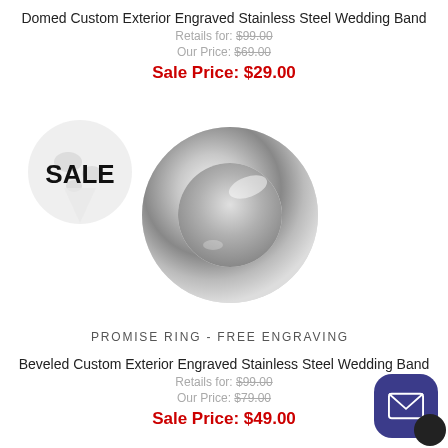Domed Custom Exterior Engraved Stainless Steel Wedding Band
Retails for: $99.00
Our Price: $69.00
Sale Price: $29.00
[Figure (logo): SALE badge with globe/pin icon]
[Figure (photo): Shiny silver domed stainless steel ring on white background]
PROMISE RING - FREE ENGRAVING
Beveled Custom Exterior Engraved Stainless Steel Wedding Band
Retails for: $99.00
Our Price: $79.00
Sale Price: $49.00